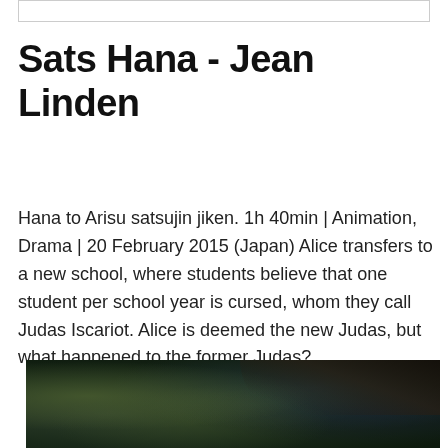Sats Hana - Jean Linden
Hana to Arisu satsujin jiken. 1h 40min | Animation, Drama | 20 February 2015 (Japan) Alice transfers to a new school, where students believe that one student per school year is cursed, whom they call Judas Iscariot. Alice is deemed the new Judas, but what happened to the former Judas?
[Figure (photo): A dark, moody photograph of a moss-covered tree trunk or bark with dark tree branches visible in the upper right corner, set against a blurred background with hints of blue sky.]